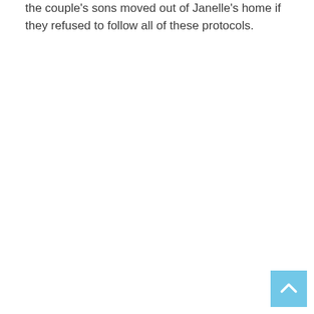the couple's sons moved out of Janelle's home if they refused to follow all of these protocols.